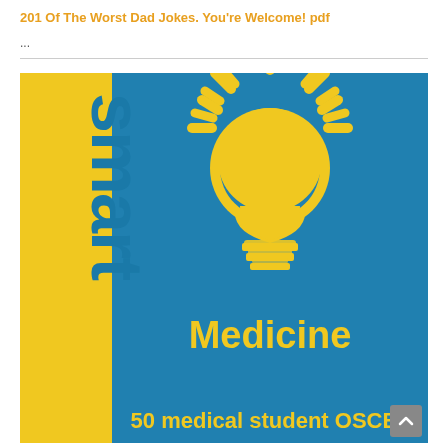201 Of The Worst Dad Jokes. You're Welcome! pdf
...
[Figure (illustration): Book cover for 'smart Medicine' featuring a yellow lightbulb icon on a blue background with the word 'smart' written vertically on a yellow left strip, 'Medicine' in large yellow text, and '50 medical student OSCEs' partially visible at the bottom]